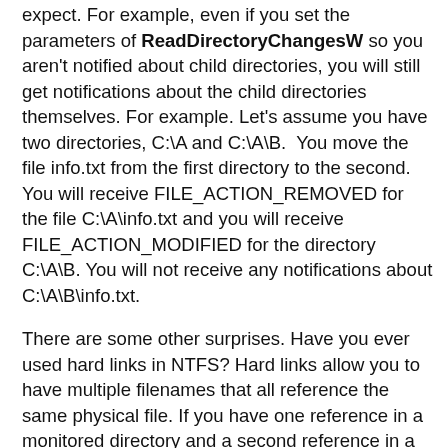expect. For example, even if you set the parameters of ReadDirectoryChangesW so you aren't notified about child directories, you will still get notifications about the child directories themselves. For example. Let's assume you have two directories, C:\A and C:\A\B.  You move the file info.txt from the first directory to the second. You will receive FILE_ACTION_REMOVED for the file C:\A\info.txt and you will receive FILE_ACTION_MODIFIED for the directory C:\A\B. You will not receive any notifications about C:\A\B\info.txt.
There are some other surprises. Have you ever used hard links in NTFS? Hard links allow you to have multiple filenames that all reference the same physical file. If you have one reference in a monitored directory and a second reference in a second directory, you can edit the file in the second directory and a notification will be generated in the first directory. It's like magic.
On the other hand, if you are using symbolic links, which were introduced in Windows Vista, then no notification will be generated for the linked file. This makes sense when you think it through, but you have to be aware of these various